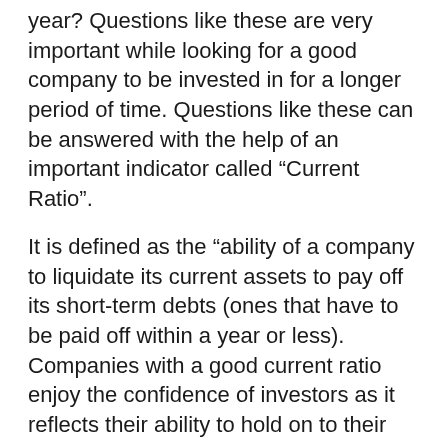year? Questions like these are very important while looking for a good company to be invested in for a longer period of time. Questions like these can be answered with the help of an important indicator called “Current Ratio”.
It is defined as the “ability of a company to liquidate its current assets to pay off its short-term debts (ones that have to be paid off within a year or less). Companies with a good current ratio enjoy the confidence of investors as it reflects their ability to hold on to their